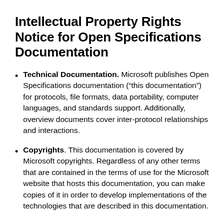Intellectual Property Rights Notice for Open Specifications Documentation
Technical Documentation. Microsoft publishes Open Specifications documentation (“this documentation”) for protocols, file formats, data portability, computer languages, and standards support. Additionally, overview documents cover inter-protocol relationships and interactions.
Copyrights. This documentation is covered by Microsoft copyrights. Regardless of any other terms that are contained in the terms of use for the Microsoft website that hosts this documentation, you can make copies of it in order to develop implementations of the technologies that are described in this documentation.